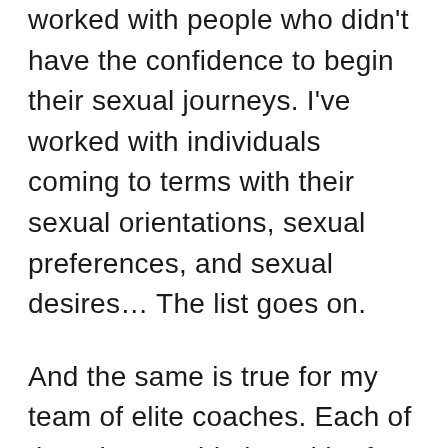worked with people who didn't have the confidence to begin their sexual journeys. I've worked with individuals coming to terms with their sexual orientations, sexual preferences, and sexual desires… The list goes on.
And the same is true for my team of elite coaches. Each of them has a wide breadth of experience and a depth in their speciality. They've helped hundreds of people from all over the world to get epic results and they can hel